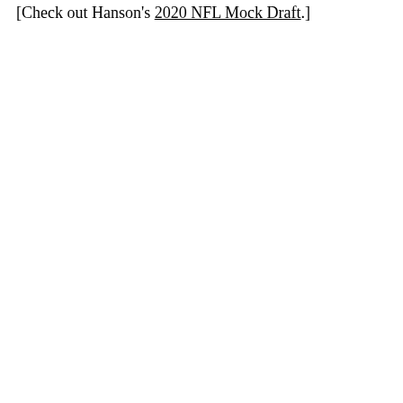[Check out Hanson's 2020 NFL Mock Draft.]